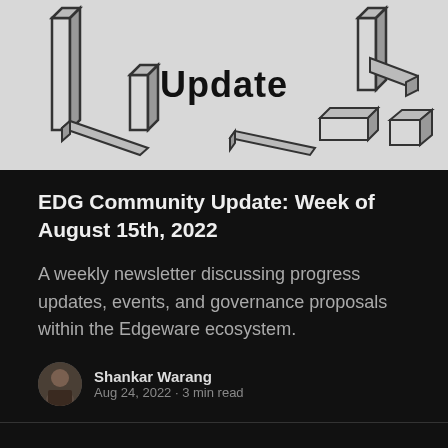[Figure (illustration): Dark background hero banner with geometric 3D block shapes scattered around the word 'Update' in bold black text on a light gray background]
EDG Community Update: Week of August 15th, 2022
A weekly newsletter discussing progress updates, events, and governance proposals within the Edgeware ecosystem.
Shankar Warang
Aug 24, 2022 • 3 min read
Edgeware © 2022
Home